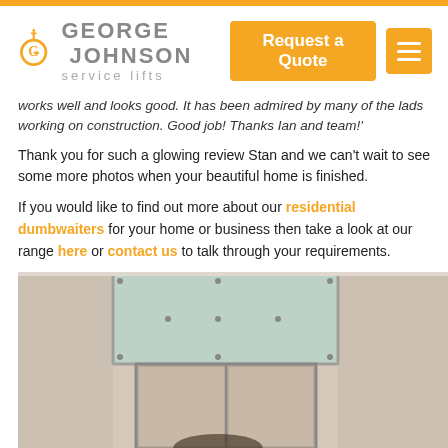GEORGE JOHNSON service lifts | Request a Quote | Menu
works well and looks good. It has been admired by many of the lads working on construction. Good job! Thanks Ian and team!'
Thank you for such a glowing review Stan and we can't wait to see some more photos when your beautiful home is finished.
If you would like to find out more about our residential dumbwaiters for your home or business then take a look at our range here or contact us to talk through your requirements.
[Figure (photo): Photo of a dumbwaiter installed in a room, showing the shaft/door frame built into a wall with a light-colored panel above it. A person is partially visible at the bottom of the image.]